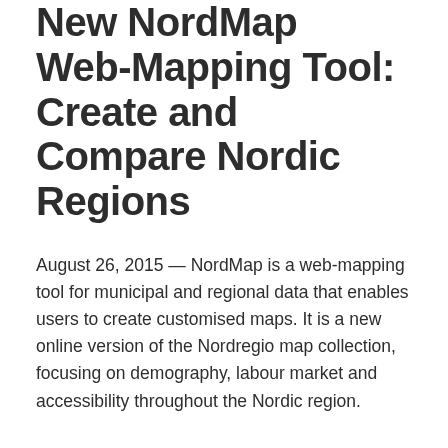New NordMap Web-Mapping Tool: Create and Compare Nordic Regions
August 26, 2015 — NordMap is a web-mapping tool for municipal and regional data that enables users to create customised maps. It is a new online version of the Nordregio map collection, focusing on demography, labour market and accessibility throughout the Nordic region.
You can quickly create customised maps, scope and analyse local and regional development patterns and interact with the data easily, explains the project manager Julien Grunfelder from Nordregio. NordMap